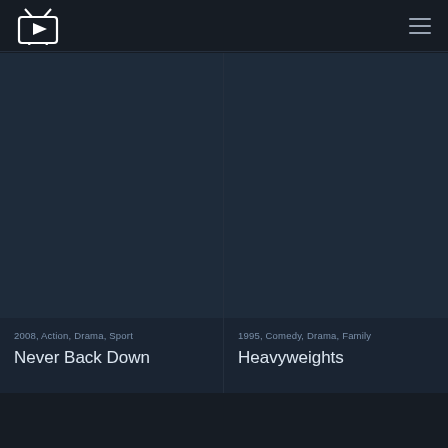[Figure (logo): TV streaming logo — retro TV icon with play button triangle inside]
2008, Action, Drama, Sport
Never Back Down
1995, Comedy, Drama, Family
Heavyweights